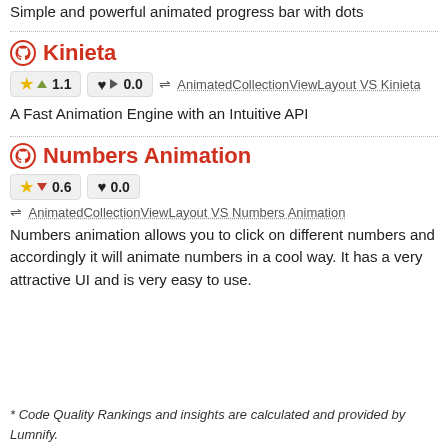Simple and powerful animated progress bar with dots
Kinieta
★ 1.1  ♥ 0.0  ⇌ AnimatedCollectionViewLayout VS Kinieta
A Fast Animation Engine with an Intuitive API
Numbers Animation
★ 0.6  ♥ 0.0
⇌ AnimatedCollectionViewLayout VS Numbers Animation
Numbers animation allows you to click on different numbers and accordingly it will animate numbers in a cool way. It has a very attractive UI and is very easy to use.
* Code Quality Rankings and insights are calculated and provided by Lumnify.